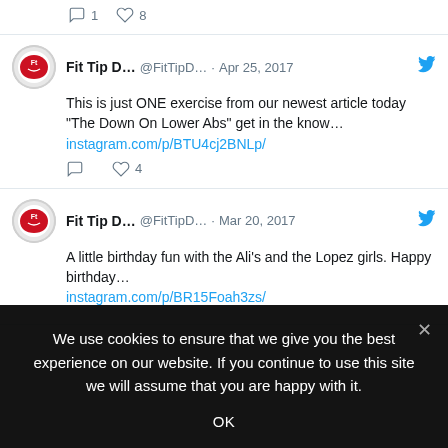1  8
Fit Tip D... @FitTipD... · Apr 25, 2017 — This is just ONE exercise from our newest article today "The Down On Lower Abs" get in the know… instagram.com/p/BTU4cj2BNLp/ — 4
Fit Tip D... @FitTipD... · Mar 20, 2017 — A little birthday fun with the Ali's and the Lopez girls.  Happy birthday… instagram.com/p/BR15Foah3zs/
We use cookies to ensure that we give you the best experience on our website. If you continue to use this site we will assume that you are happy with it. — OK